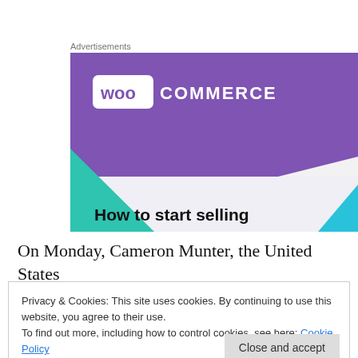Advertisements
[Figure (illustration): WooCommerce advertisement image with purple background, teal triangles, and text 'How to start selling']
On Monday, Cameron Munter, the United States
Privacy & Cookies: This site uses cookies. By continuing to use this website, you agree to their use.
To find out more, including how to control cookies, see here: Cookie Policy